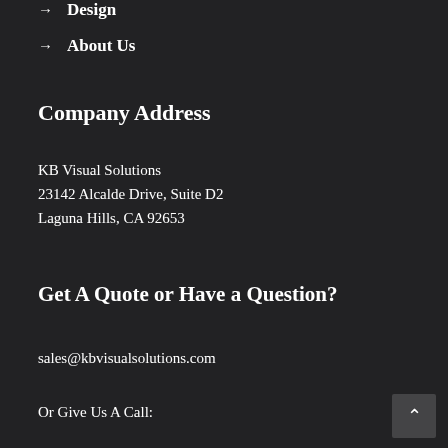→ Design
→ About Us
Company Address
KB Visual Solutions
23142 Alcalde Drive, Suite D2
Laguna Hills, CA 92653
Get A Quote or Have a Question?
sales@kbvisualsolutions.com
Or Give Us A Call: